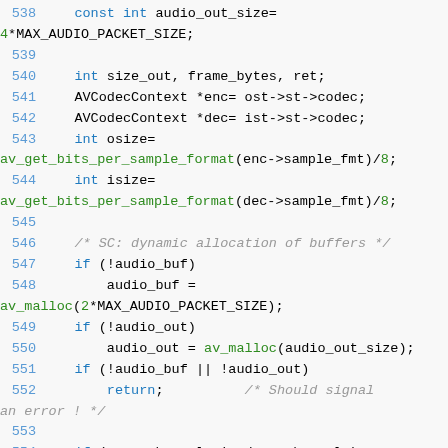[Figure (screenshot): Source code listing in C, lines 538-557, showing audio buffer allocation logic with syntax highlighting. Line numbers in blue, keywords in blue, function names in green, comments in gray italic, numeric literals in green.]